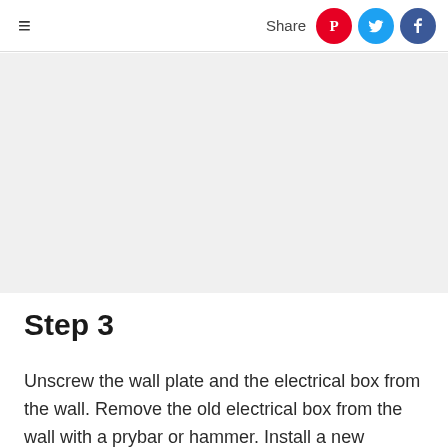≡   Share
[Figure (other): Gray advertisement/image placeholder block]
Step 3
Unscrew the wall plate and the electrical box from the wall. Remove the old electrical box from the wall with a prybar or hammer. Install a new electrical box that has